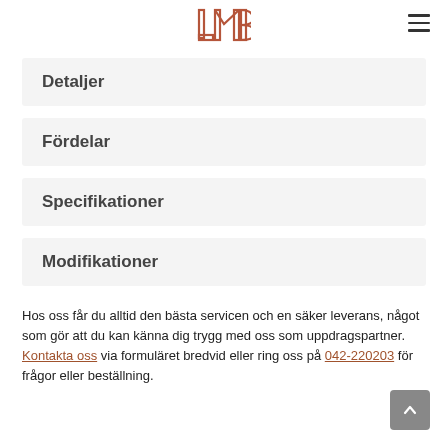LMB logo and hamburger menu
Detaljer
Fördelar
Specifikationer
Modifikationer
Hos oss får du alltid den bästa servicen och en säker leverans, något som gör att du kan känna dig trygg med oss som uppdragspartner. Kontakta oss via formuläret bredvid eller ring oss på 042-220203 för frågor eller beställning.